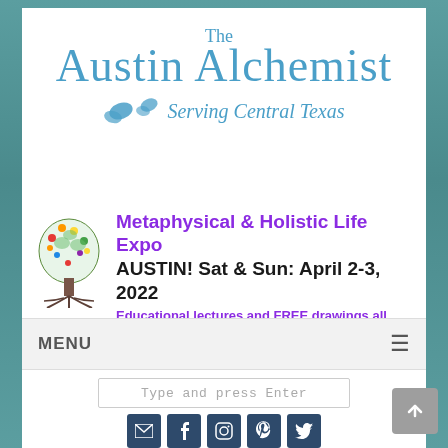[Figure (logo): The Austin Alchemist logo with butterfly graphics and 'Serving Central Texas' subtitle in teal/blue color scheme]
[Figure (infographic): Metaphysical & Holistic Life Expo announcement with colorful tree of life graphic. Text: 'Metaphysical & Holistic Life Expo', 'AUSTIN! Sat & Sun: April 2-3, 2022', 'Educational lectures and FREE drawings all weekend!']
MENU
Type and press Enter
[Figure (infographic): Social media icons row: email, facebook, instagram, pinterest, twitter - dark blue square buttons]